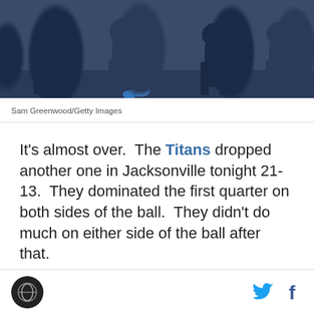[Figure (photo): Football players in action, dark blue uniforms, game action shot]
Sam Greenwood/Getty Images
It's almost over.  The Titans dropped another one in Jacksonville tonight 21-13.  They dominated the first quarter on both sides of the ball.  They didn't do much on either side of the ball after that.
Site logo, Twitter icon, Facebook icon